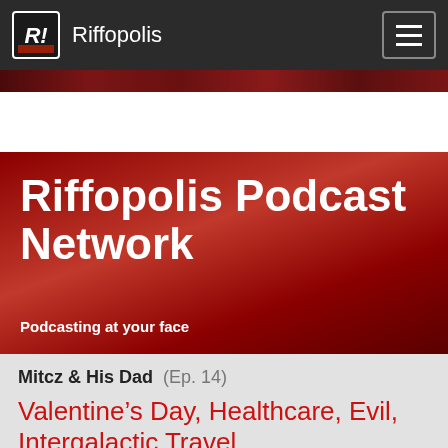Riffopolis
Quick Jump to podcast :  Select a Podcast
Riffopolis Podcast Network
Podcasting at your face
Mitcz & His Dad (Ep. 14)
Valentine’s Day, Healthcare, Evil, Intergalactic Travel